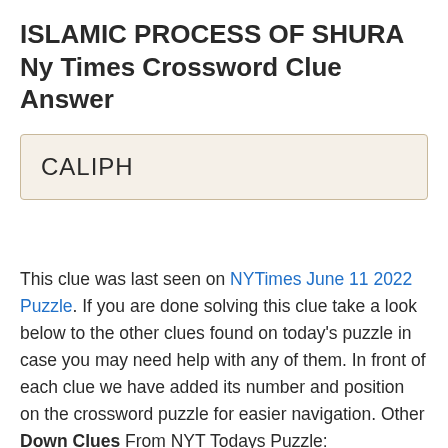ISLAMIC PROCESS OF SHURA Ny Times Crossword Clue Answer
CALIPH
This clue was last seen on NYTimes June 11 2022 Puzzle. If you are done solving this clue take a look below to the other clues found on today's puzzle in case you may need help with any of them. In front of each clue we have added its number and position on the crossword puzzle for easier navigation. Other Down Clues From NYT Todays Puzzle: